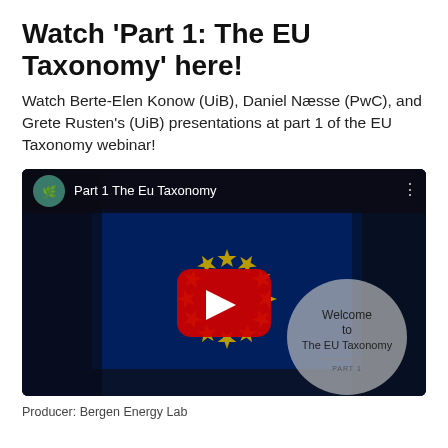Watch 'Part 1: The EU Taxonomy' here!
Watch Berte-Elen Konow (UiB), Daniel Næsse (PwC), and Grete Rusten's (UiB) presentations at part 1 of the EU Taxonomy webinar!
[Figure (screenshot): YouTube video thumbnail titled 'Part 1 The Eu Taxonomy' showing an EU flag background with a red YouTube play button in the center and a semi-transparent circle overlay on the right with text 'Welcome to The EU Taxonomy PART 1'. The video player top bar shows a green circular logo icon and the video title.]
Producer: Bergen Energy Lab